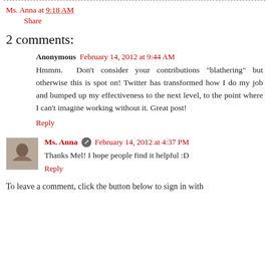Ms. Anna at 9:18 AM
Share
2 comments:
Anonymous February 14, 2012 at 9:44 AM
Hmmm. Don't consider your contributions "blathering" but otherwise this is spot on! Twitter has transformed how I do my job and bumped up my effectiveness to the next level, to the point where I can't imagine working without it. Great post!
Reply
Ms. Anna February 14, 2012 at 4:37 PM
Thanks Mel! I hope people find it helpful :D
Reply
To leave a comment, click the button below to sign in with